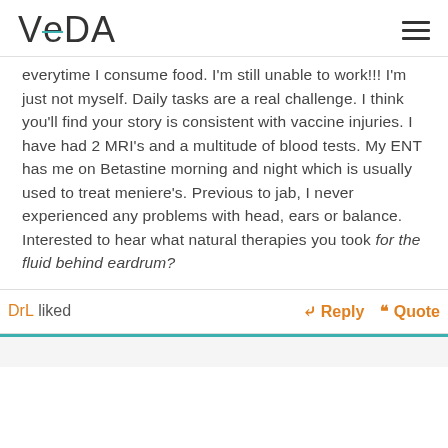VEDA
everytime I consume food. I'm still unable to work!!! I'm just not myself. Daily tasks are a real challenge. I think you'll find your story is consistent with vaccine injuries. I have had 2 MRI's and a multitude of blood tests. My ENT has me on Betastine morning and night which is usually used to treat meniere's. Previous to jab, I never experienced any problems with head, ears or balance. Interested to hear what natural therapies you took for the fluid behind eardrum?
DrL liked
Reply  Quote